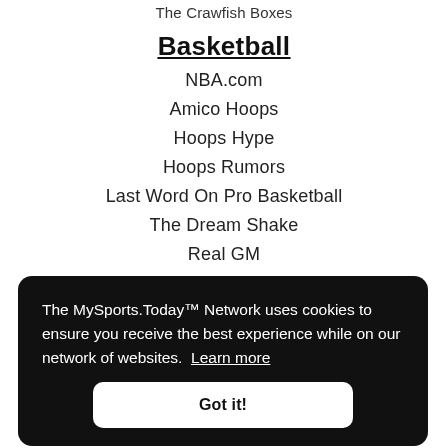The Crawfish Boxes
Basketball
NBA.com
Amico Hoops
Hoops Hype
Hoops Rumors
Last Word On Pro Basketball
The Dream Shake
Real GM
Pro Basketball Talk
The MySports.Today™ Network uses cookies to ensure you receive the best experience while on our network of websites. Learn more
NFL Trade Rumors